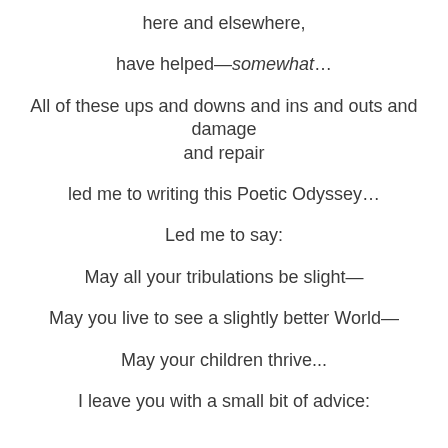here and elsewhere,
have helped—somewhat…
All of these ups and downs and ins and outs and damage and repair
led me to writing this Poetic Odyssey…
Led me to say:
May all your tribulations be slight—
May you live to see a slightly better World—
May your children thrive...
I leave you with a small bit of advice: